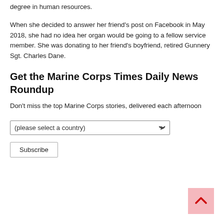degree in human resources.
When she decided to answer her friend's post on Facebook in May 2018, she had no idea her organ would be going to a fellow service member. She was donating to her friend's boyfriend, retired Gunnery Sgt. Charles Dane.
Get the Marine Corps Times Daily News Roundup
Don't miss the top Marine Corps stories, delivered each afternoon
[Figure (other): Country selection dropdown and Subscribe button for newsletter signup]
[Figure (other): Back to top button arrow icon in pink/salmon background]